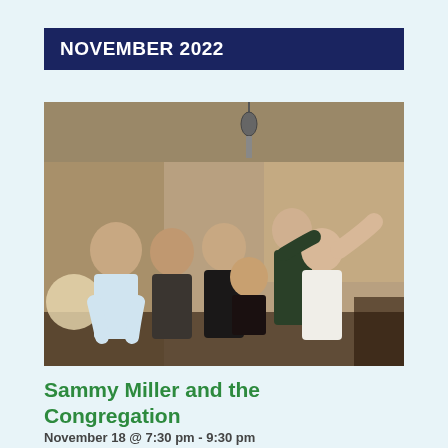NOVEMBER 2022
[Figure (photo): Group of six young musicians standing together in a recording studio, looking up at a microphone suspended from the ceiling. They appear joyful and playful. The room has warm-toned walls and a wooden floor.]
Sammy Miller and the Congregation
November 18 @ 7:30 pm - 9:30 pm